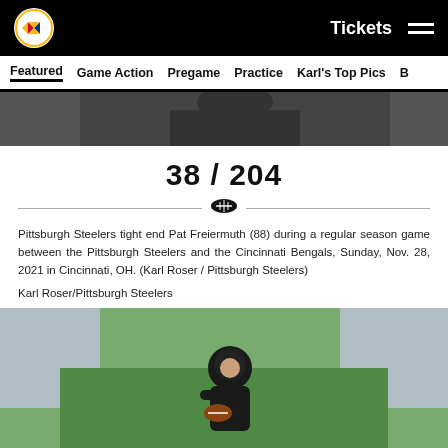Tickets ☰
Featured  Game Action  Pregame  Practice  Karl's Top Pics  B
[Figure (photo): Partial view of a person in dark clothing, cropped top portion of image]
38 / 204
Pittsburgh Steelers tight end Pat Freiermuth (88) during a regular season game between the Pittsburgh Steelers and the Cincinnati Bengals, Sunday, Nov. 28, 2021 in Cincinnati, OH. (Karl Roser / Pittsburgh Steelers)
Karl Roser/Pittsburgh Steelers
[Figure (photo): Football player in dark clothing catching or holding a football on a field, stadium seating visible in background]